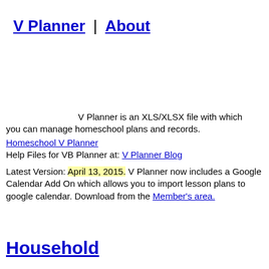V Planner | About
V Planner is an XLS/XLSX file with which you can manage homeschool plans and records.
Homeschool V Planner
Help Files for VB Planner at: V Planner Blog
Latest Version: April 13, 2015. V Planner now includes a Google Calendar Add On which allows you to import lesson plans to google calendar. Download from the Member's area.
Household